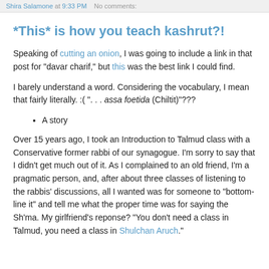Shira Salamone at 9:33 PM   No comments:
*This* is how you teach kashrut?!
Speaking of cutting an onion, I was going to include a link in that post for "davar charif," but this was the best link I could find.
I barely understand a word. Considering the vocabulary, I mean that fairly literally. :( ". . . assa foetida (Chiltit)"???
A story
Over 15 years ago, I took an Introduction to Talmud class with a Conservative former rabbi of our synagogue. I'm sorry to say that I didn't get much out of it. As I complained to an old friend, I'm a pragmatic person, and, after about three classes of listening to the rabbis' discussions, all I wanted was for someone to "bottom-line it" and tell me what the proper time was for saying the Sh'ma. My girlfriend's reponse? "You don't need a class in Talmud, you need a class in Shulchan Aruch."